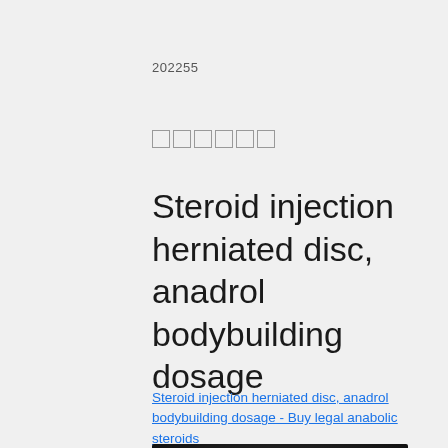202255
██████
Steroid injection herniated disc, anadrol bodybuilding dosage
Steroid injection herniated disc, anadrol bodybuilding dosage - Buy legal anabolic steroids
[Figure (photo): Blurred dark photograph, partially visible at bottom of page]